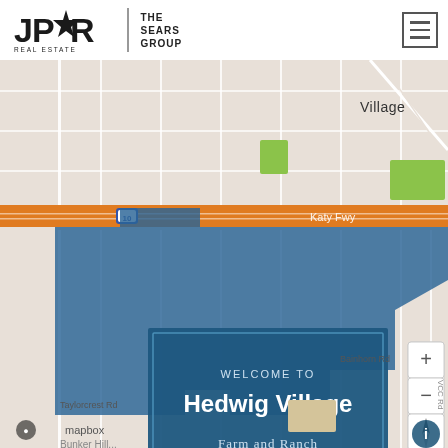JPR Real Estate | The Sears Group
[Figure (map): Mapbox street map showing Hedwig Village area in Houston, TX. A blue shaded polygon marks the Hedwig Village neighborhood boundary. Visible roads include I-10/Katy Fwy (orange highway), Bainhorn Rd, Taylorcrest Rd. Map controls (+, -, compass) on right side. Mapbox logo and info button visible at bottom.]
WELCOME TO Hedwig Village Farm and Ranch